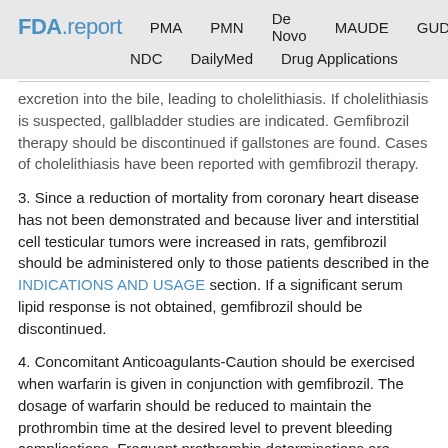FDA.report  PMA  PMN  De Novo  MAUDE  GUDID  NDC  DailyMed  Drug Applications
excretion into the bile, leading to cholelithiasis. If cholelithiasis is suspected, gallbladder studies are indicated. Gemfibrozil therapy should be discontinued if gallstones are found. Cases of cholelithiasis have been reported with gemfibrozil therapy.
3. Since a reduction of mortality from coronary heart disease has not been demonstrated and because liver and interstitial cell testicular tumors were increased in rats, gemfibrozil should be administered only to those patients described in the INDICATIONS AND USAGE section. If a significant serum lipid response is not obtained, gemfibrozil should be discontinued.
4. Concomitant Anticoagulants-Caution should be exercised when warfarin is given in conjunction with gemfibrozil. The dosage of warfarin should be reduced to maintain the prothrombin time at the desired level to prevent bleeding complications. Frequent prothrombin determinations are advisable until it has been definitely determined that the prothrombin level has stabilized.